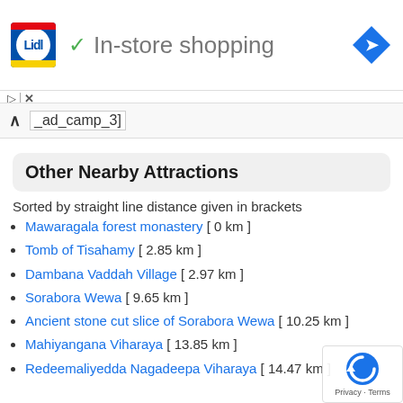[Figure (logo): Lidl store logo with blue background and red/yellow stripes, next to green checkmark and 'In-store shopping' text, with a blue navigation diamond icon on the right]
ad_camp_3]
Other Nearby Attractions
Sorted by straight line distance given in brackets
Mawaragala forest monastery [ 0 km ]
Tomb of Tisahamy [ 2.85 km ]
Dambana Vaddah Village [ 2.97 km ]
Sorabora Wewa [ 9.65 km ]
Ancient stone cut slice of Sorabora Wewa [ 10.25 km ]
Mahiyangana Viharaya [ 13.85 km ]
Redeemaliyedda Nagadeepa Viharaya [ 14.47 km ]